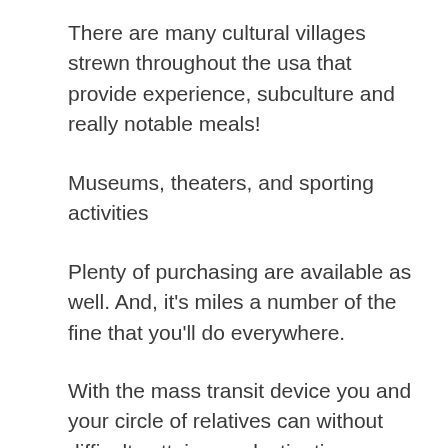There are many cultural villages strewn throughout the usa that provide experience, subculture and really notable meals!
Museums, theaters, and sporting activities
Plenty of purchasing are available as well. And, it's miles a number of the fine that you'll do everywhere.
With the mass transit device you and your circle of relatives can without difficulty attain any destination, or excursion the city. The device itself is a thing to look and enjoy.
Restaurants and outdoor pubs spring up anywhere